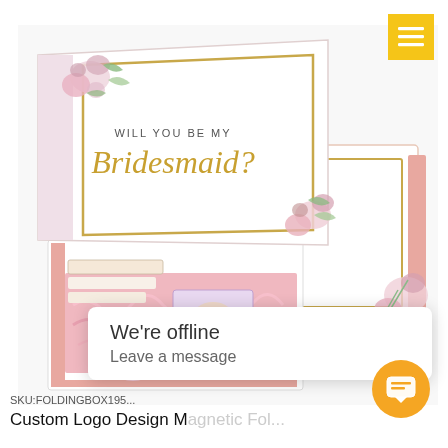[Figure (photo): Open white magnetic gift box with pink shredded paper fill and bridesmaid proposal text on lid reading 'Will You Be My Bridesmaid?' with floral decorations. Next to it is a closed white and pink box with gold border and floral corner decoration. Various gift items visible inside the open box.]
We're offline
Leave a message
SKU:FOLDINGBOX195...
Custom Logo Design Magnetic Fol...